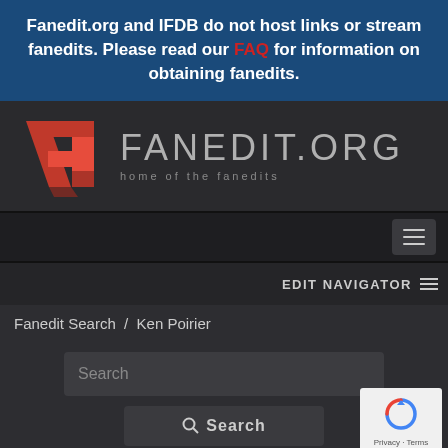Fanedit.org and IFDB do not host links or stream fanedits. Please read our FAQ for information on obtaining fanedits.
[Figure (logo): Fanedit.org logo with red geometric FE icon and gray text FANEDIT.ORG with tagline 'home of the fanedits']
[Figure (screenshot): Navigation bar with hamburger menu button on right]
EDIT NAVIGATOR
Fanedit Search / Ken Poirier
[Figure (screenshot): Search input box and Search button with reCAPTCHA widget]